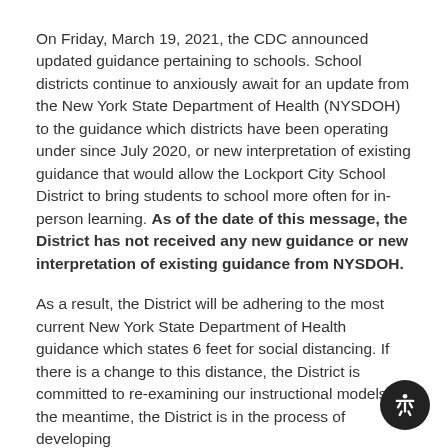On Friday, March 19, 2021, the CDC announced updated guidance pertaining to schools. School districts continue to anxiously await for an update from the New York State Department of Health (NYSDOH) to the guidance which districts have been operating under since July 2020, or new interpretation of existing guidance that would allow the Lockport City School District to bring students to school more often for in-person learning. As of the date of this message, the District has not received any new guidance or new interpretation of existing guidance from NYSDOH.
As a result, the District will be adhering to the most current New York State Department of Health guidance which states 6 feet for social distancing. If there is a change to this distance, the District is committed to re-examining our instructional models. In the meantime, the District is in the process of developing...